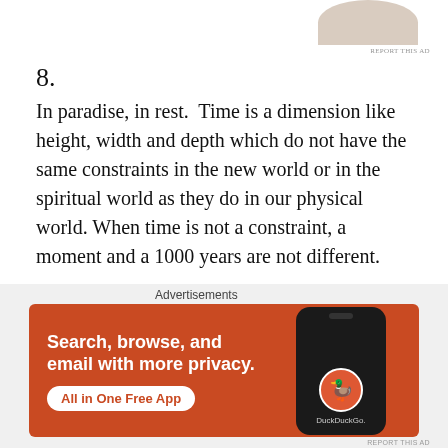[Figure (photo): Partial view of a person at the top of the page, advertisement image]
REPORT THIS AD
8.
In paradise, in rest.  Time is a dimension like height, width and depth which do not have the same constraints in the new world or in the spiritual world as they do in our physical world. When time is not a constraint, a moment and a 1000 years are not different.
9.
The understanding that this is not it.  All of us know that
Advertisements
[Figure (screenshot): DuckDuckGo advertisement banner with orange background. Text: Search, browse, and email with more privacy. All in One Free App. Shows a phone with DuckDuckGo logo.]